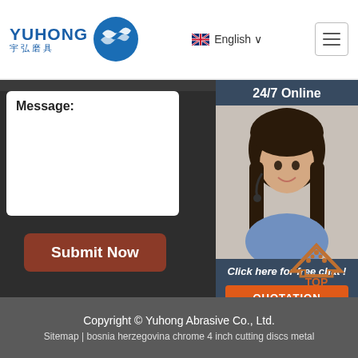YUHONG 宇弘磨具 | English | Menu
Message:
Submit Now
24/7 Online
[Figure (photo): Customer service representative woman wearing headset, smiling]
Click here for free chat !
QUOTATION
[Figure (illustration): TOP button arrow icon in orange/brown color]
Copyright © Yuhong Abrasive Co., Ltd.
Sitemap | bosnia herzegovina chrome 4 inch cutting discs metal